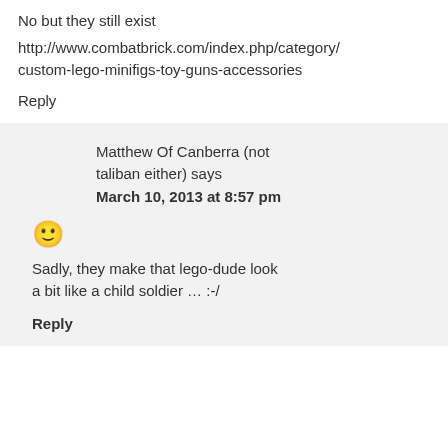No but they still exist
http://www.combatbrick.com/index.php/category/custom-lego-minifigs-toy-guns-accessories
Reply
Matthew Of Canberra (not taliban either) says
March 10, 2013 at 8:57 pm
[Figure (other): Yellow smiley face emoji]
Sadly, they make that lego-dude look a bit like a child soldier … :-/
Reply